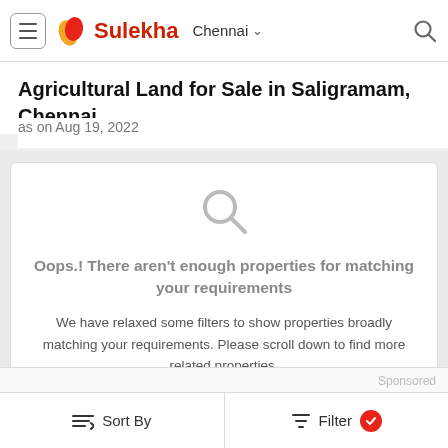Sulekha | Chennai | Search
Agricultural Land for Sale in Saligramam, Chennai
as on Aug 19, 2022
[Figure (screenshot): Empty search results card with magnifying glass icon and message: Oops.! There aren't enough properties for matching your requirements. We have relaxed some filters to show properties broadly matching your requirements. Please scroll down to find more related properties.]
Sponsored
Sort By | Filter